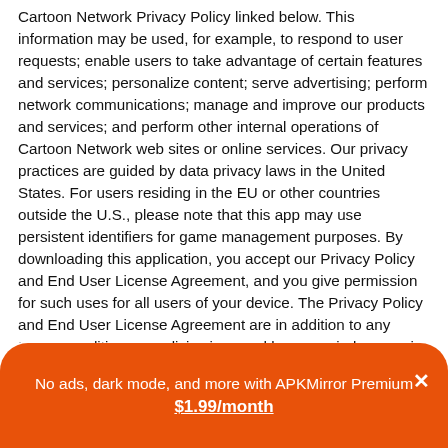Cartoon Network Privacy Policy linked below. This information may be used, for example, to respond to user requests; enable users to take advantage of certain features and services; personalize content; serve advertising; perform network communications; manage and improve our products and services; and perform other internal operations of Cartoon Network web sites or online services. Our privacy practices are guided by data privacy laws in the United States. For users residing in the EU or other countries outside the U.S., please note that this app may use persistent identifiers for game management purposes. By downloading this application, you accept our Privacy Policy and End User License Agreement, and you give permission for such uses for all users of your device. The Privacy Policy and End User License Agreement are in addition to any terms, conditions or policies imposed by your wireless carrier and GooglePlay, Inc. Cartoon Network and its affiliates are not responsible for any collection, use, or disclosure of your personal information by GooglePlay or your wireless carrier.
T...
No ads, dark mode, and more with APKMirror Premium × $1.99/month